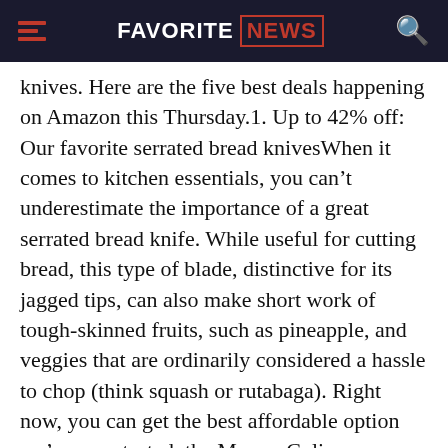FAVORITE NEWS
knives. Here are the five best deals happening on Amazon this Thursday.1. Up to 42% off: Our favorite serrated bread knivesWhen it comes to kitchen essentials, you can't underestimate the importance of a great serrated bread knife. While useful for cutting bread, this type of blade, distinctive for its jagged tips, can also make short work of tough-skinned fruits, such as pineapple, and veggies that are ordinarily considered a hassle to chop (think squash or rutabaga). Right now, you can get the best affordable option we've ever tested, the Mercer Culinary Millennia 10-inch bread knife, on sale for 42% off, which is sensational. Instead of paying $22.25—an already budget-friendly price for this 4.9-star rated item with close to 8,000 positive Amazon reviews—